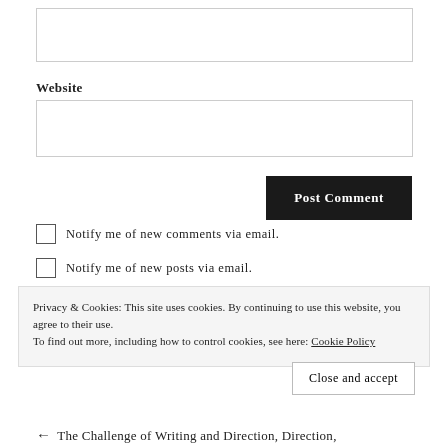(input box — top, empty)
Website
(input box — website, empty)
Post Comment (button)
Notify me of new comments via email.
Notify me of new posts via email.
Privacy & Cookies: This site uses cookies. By continuing to use this website, you agree to their use.
To find out more, including how to control cookies, see here: Cookie Policy
Close and accept
← The Challenge of Writing and Direction, Direction,